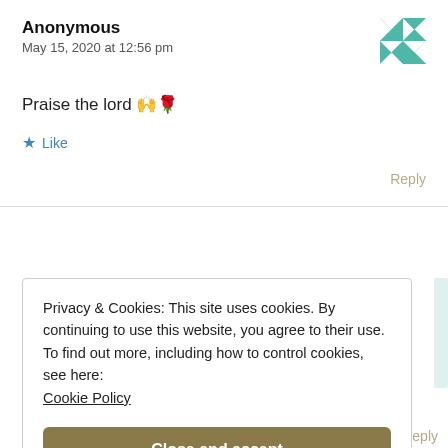Anonymous
May 15, 2020 at 12:56 pm
[Figure (illustration): Teal and white geometric quilt pattern avatar icon]
Praise the lord 🙌🌹
★ Like
Reply
Privacy & Cookies: This site uses cookies. By continuing to use this website, you agree to their use. To find out more, including how to control cookies, see here: Cookie Policy
Close and accept
Reply